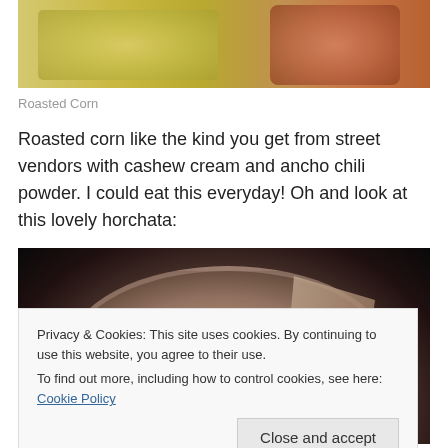[Figure (photo): Close-up photo of roasted corn on the cob with golden kernels, and what appears to be a browned flatbread or pancake on the right side]
Roasted Corn
Roasted corn like the kind you get from street vendors with cashew cream and ancho chili powder. I could eat this everyday! Oh and look at this lovely horchata:
[Figure (photo): Dark background photo of a bowl or glass containing horchata (a light pinkish-beige drink) with what appears to be a triangular wedge (likely a chip or wafer) partially submerged in it]
Privacy & Cookies: This site uses cookies. By continuing to use this website, you agree to their use.
To find out more, including how to control cookies, see here: Cookie Policy
Close and accept